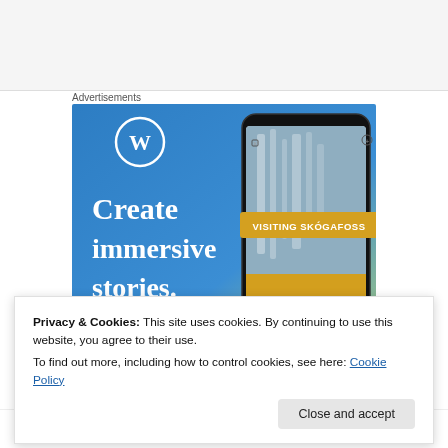Advertisements
[Figure (illustration): WordPress advertisement banner showing 'Create immersive stories.' text with WordPress logo and a smartphone showing a waterfall photo with 'VISITING SKÓGAFOSS' overlay label. Blue gradient background on left, phone on right.]
Privacy & Cookies: This site uses cookies. By continuing to use this website, you agree to their use.
To find out more, including how to control cookies, see here: Cookie Policy
Close and accept
time, and I hope you don't, I'm confident that you